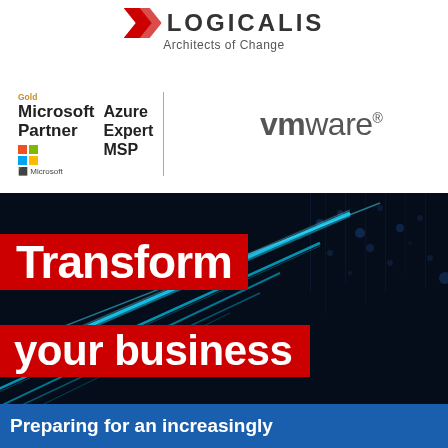[Figure (logo): Logicalis logo with red chevron/shield icon and text 'LOGICALIS' with tagline 'Architects of Change']
[Figure (logo): Microsoft Gold Partner | Azure Expert MSP logo with Windows squares icon]
[Figure (logo): VMware logo in grey text with registered trademark symbol]
[Figure (photo): Dark blue background with bright cyan light streaks suggesting technology/data center]
Transform your business
Preparing for an increasingly